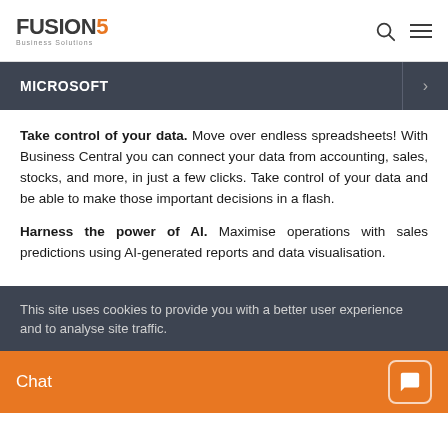FUSION5 Business Solutions
MICROSOFT
Take control of your data. Move over endless spreadsheets! With Business Central you can connect your data from accounting, sales, stocks, and more, in just a few clicks. Take control of your data and be able to make those important decisions in a flash.
Harness the power of AI. Maximise operations with sales predictions using AI-generated reports and data visualisation.
This site uses cookies to provide you with a better user experience and to analyse site traffic.
Chat